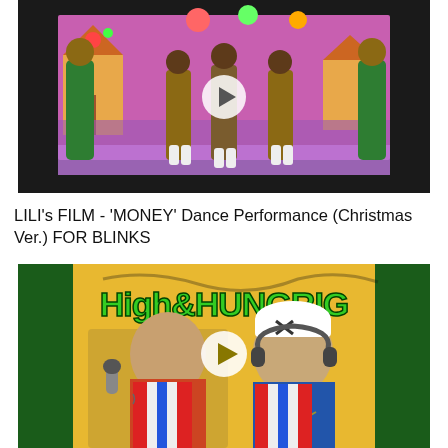[Figure (screenshot): Video thumbnail showing dancers in Christmas-themed stage performance. Black background with play button overlay. Performers in brown outfits dancing on a colorful holiday stage set with pink and green decorations, gingerbread house backdrop. Two people in green outfits on the sides.]
LILI's FILM - 'MONEY' Dance Performance (Christmas Ver.) FOR BLINKS
[Figure (screenshot): Video thumbnail for 'High & Hungrig' showing two male rappers against a yellow/colorful background. Text 'High & Hungrig' in green graffiti style lettering at top. One man holds a microphone, the other wears a white cap and headphones with chains. Play button overlay in center.]